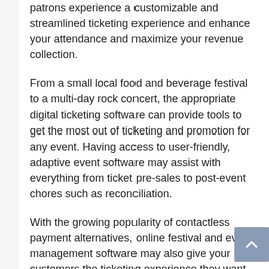patrons experience a customizable and streamlined ticketing experience and enhance your attendance and maximize your revenue collection.
From a small local food and beverage festival to a multi-day rock concert, the appropriate digital ticketing software can provide tools to get the most out of ticketing and promotion for any event. Having access to user-friendly, adaptive event software may assist with everything from ticket pre-sales to post-event chores such as reconciliation.
With the growing popularity of contactless payment alternatives, online festival and event management software may also give your customers the ticketing experience they want